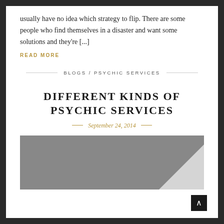usually have no idea which strategy to flip. There are some people who find themselves in a disaster and want some solutions and they're [...]
READ MORE
BLOGS / PSYCHIC SERVICES
DIFFERENT KINDS OF PSYCHIC SERVICES
September 24, 2014
[Figure (photo): Gray placeholder image with a folded corner effect in the bottom right]